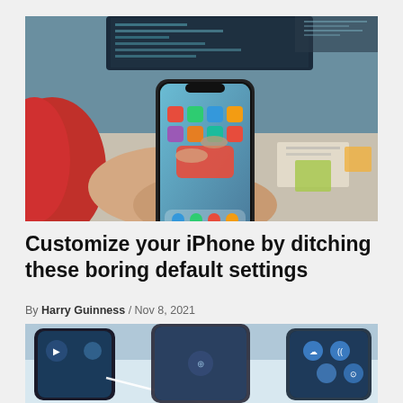[Figure (photo): Hands holding an iPhone X showing the home screen with colorful app icons, in front of a computer monitor with code, on a desk with papers and sticky notes]
Customize your iPhone by ditching these boring default settings
By Harry Guinness / Nov 8, 2021
[Figure (photo): Close-up of multiple iPhones laid flat on a surface showing control center and lock screen interfaces with blue icons]